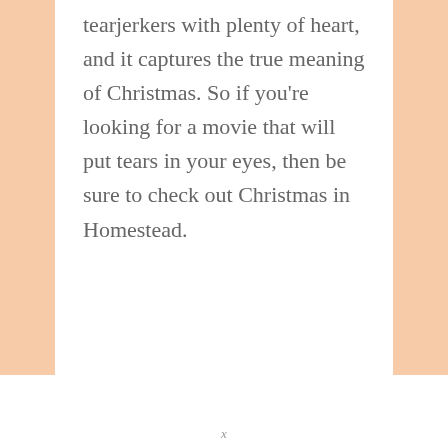tearjerkers with plenty of heart, and it captures the true meaning of Christmas. So if you're looking for a movie that will put tears in your eyes, then be sure to check out Christmas in Homestead.